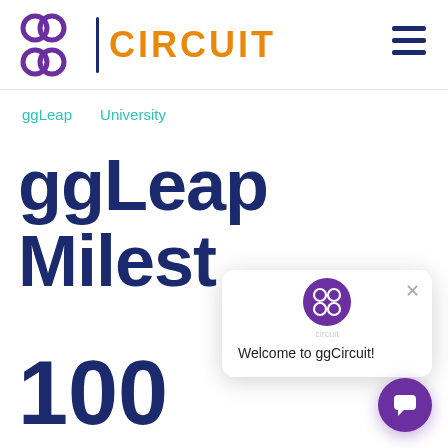[Figure (logo): ggCircuit logo: purple interlocking squares icon on left, vertical divider, orange 'CIRCUIT' wordmark on right]
ggLeap   University
ggLeap Milest 100
[Figure (screenshot): Chat popup overlay with ggCircuit purple avatar icon at top center, close X button top right, text 'Welcome to ggCircuit!' inside white rounded card with shadow]
[Figure (other): Purple circular chat button in bottom right corner with white chat icon]